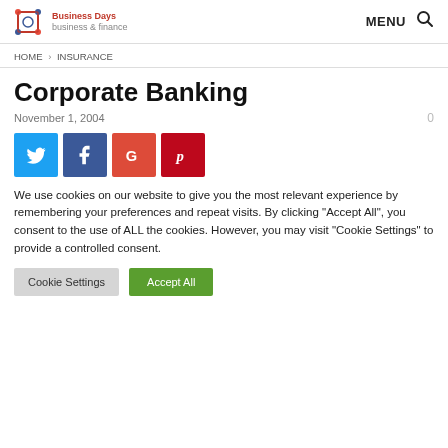Business Days — MENU (search icon)
HOME > INSURANCE
Corporate Banking
November 1, 2004
[Figure (other): Social share buttons: Twitter (blue), Facebook (dark blue), Google+ (red-orange), Pinterest (dark red)]
We use cookies on our website to give you the most relevant experience by remembering your preferences and repeat visits. By clicking "Accept All", you consent to the use of ALL the cookies. However, you may visit "Cookie Settings" to provide a controlled consent.
Cookie Settings    Accept All